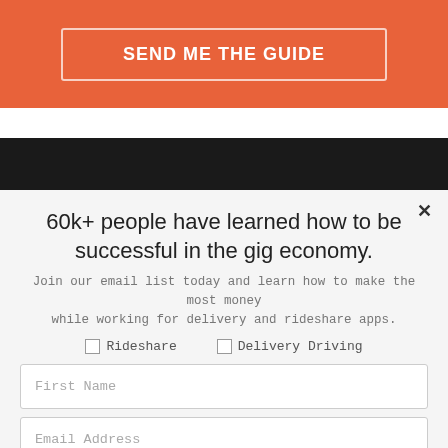[Figure (screenshot): Orange call-to-action section with 'SEND ME THE GUIDE' button in white outlined rectangle on orange background]
60k+ people have learned how to be successful in the gig economy.
Join our email list today and learn how to make the most money while working for delivery and rideshare apps.
Rideshare
Delivery Driving
First Name
Email Address
I'M READY, SIGN ME UP!